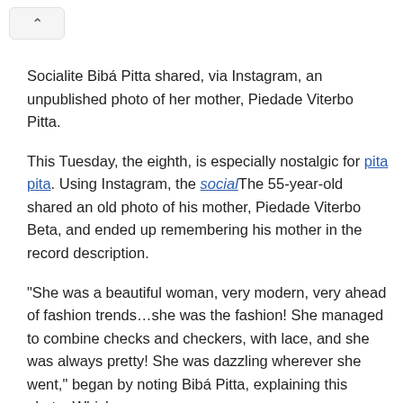[Figure (other): Navigation back button (chevron up icon) in a rounded rectangle]
Socialite Bibá Pitta shared, via Instagram, an unpublished photo of her mother, Piedade Viterbo Pitta.
This Tuesday, the eighth, is especially nostalgic for pita pita. Using Instagram, the social/The 55-year-old shared an old photo of his mother, Piedade Viterbo Beta, and ended up remembering his mother in the record description.
“She was a beautiful woman, very modern, very ahead of fashion trends…she was the fashion! She managed to combine checks and checkers, with lace, and she was always pretty! She was dazzling wherever she went,” began by noting Bibá Pitta, explaining this photo, Which